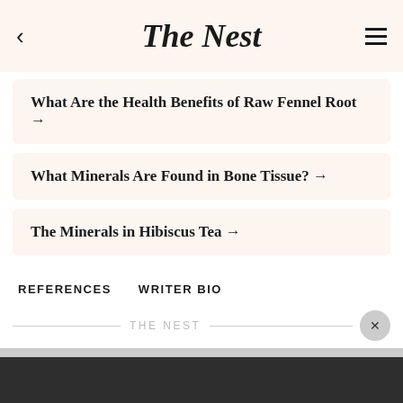The Nest
What Are the Health Benefits of Raw Fennel Root →
What Minerals Are Found in Bone Tissue? →
The Minerals in Hibiscus Tea →
REFERENCES   WRITER BIO
THE NEST